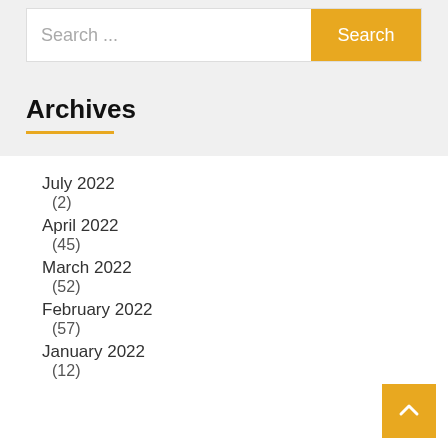Search ...
Search
Archives
July 2022
(2)
April 2022
(45)
March 2022
(52)
February 2022
(57)
January 2022
(12)